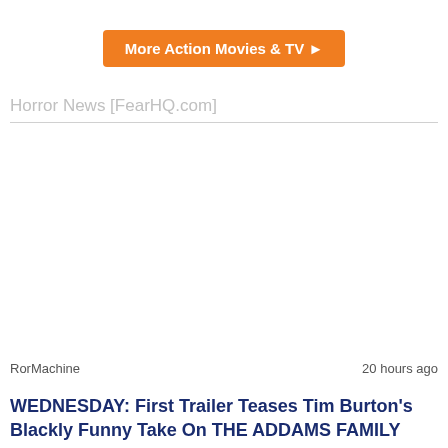[Figure (other): Orange button labeled 'More Action Movies & TV ▶']
Horror News [FearHQ.com]
RorMachine   20 hours ago
WEDNESDAY: First Trailer Teases Tim Burton's Blackly Funny Take On THE ADDAMS FAMILY